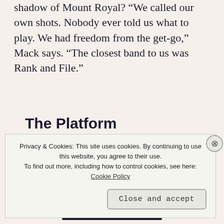shadow of Mount Royal? “We called our own shots. Nobody ever told us what to play. We had freedom from the get-go,” Mack says. “The closest band to us was Rank and File.”
[Figure (other): WordPress advertisement banner with bold heading: 'The Platform Where WordPress Works Best'. 'WordPress' and 'Best' are in blue.]
Privacy & Cookies: This site uses cookies. By continuing to use this website, you agree to their use.
To find out more, including how to control cookies, see here: Cookie Policy